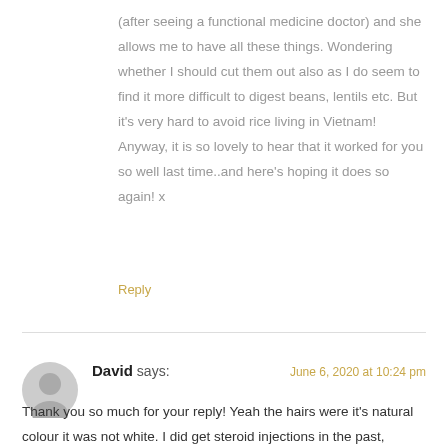(after seeing a functional medicine doctor) and she allows me to have all these things. Wondering whether I should cut them out also as I do seem to find it more difficult to digest beans, lentils etc. But it's very hard to avoid rice living in Vietnam! Anyway, it is so lovely to hear that it worked for you so well last time..and here's hoping it does so again! x
Reply
David says:
June 6, 2020 at 10:24 pm
Thank you so much for your reply! Yeah the hairs were it's natural colour it was not white. I did get steroid injections in the past, however, due to the pandemic I have been using Teva-